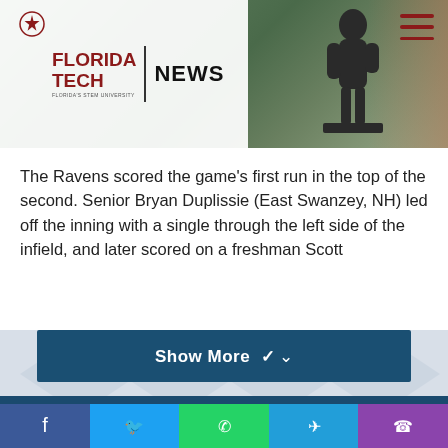[Figure (photo): Florida Tech News header with logo on white background overlaying an outdoor photo showing green trees and a dark sculpture/statue. Hamburger menu icon in top right.]
The Ravens scored the game's first run in the top of the second. Senior Bryan Duplissie (East Swanzey, NH) led off the inning with a single through the left side of the infield, and later scored on a freshman Scott
Show More ∨
RELATED ARTICLES
[Figure (photo): Two people standing together, yellowish wall background]
[Figure (photo): Building entrance with Florida Tech signage]